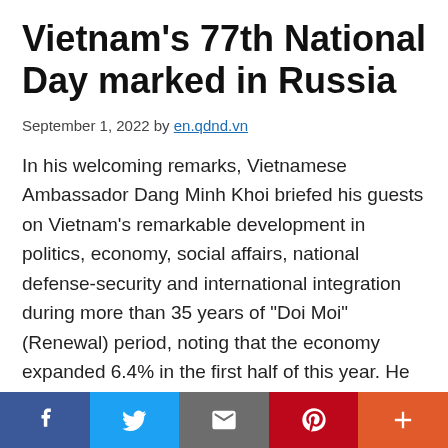Vietnam's 77th National Day marked in Russia
September 1, 2022 by en.qdnd.vn
In his welcoming remarks, Vietnamese Ambassador Dang Minh Khoi briefed his guests on Vietnam's remarkable development in politics, economy, social affairs, national defense-security and international integration during more than 35 years of “Doi Moi” (Renewal) period, noting that the economy expanded 6.4% in the first half of this year. He later highlighted the Vietnam-Russia ties, saying the two countries have enjoyed a long-standing and good friendship, and Russia has